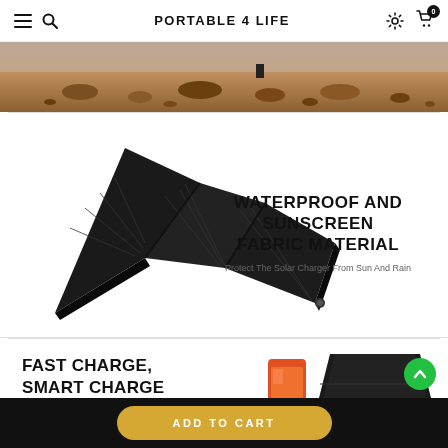PORTABLE 4 LIFE
[Figure (photo): Mars-like rocky terrain landscape banner image]
[Figure (photo): Black foldable solar panel charger laid open on white background with text: WATERPROOF AND SUNSCREEN FABRIC MATERIAL — Protect The Solar Charger From Sun And Rain]
[Figure (photo): Folded black solar panel with phone charging, text: FAST CHARGE, SMART CHARGE — More Stable Voltage Output And]